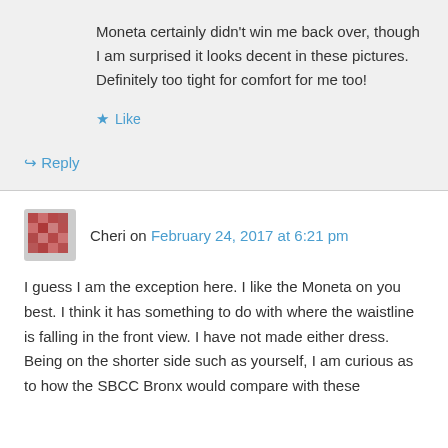Moneta certainly didn't win me back over, though I am surprised it looks decent in these pictures. Definitely too tight for comfort for me too!
Like
Reply
Cheri on February 24, 2017 at 6:21 pm
I guess I am the exception here. I like the Moneta on you best. I think it has something to do with where the waistline is falling in the front view. I have not made either dress. Being on the shorter side such as yourself, I am curious as to how the SBCC Bronx would compare with these